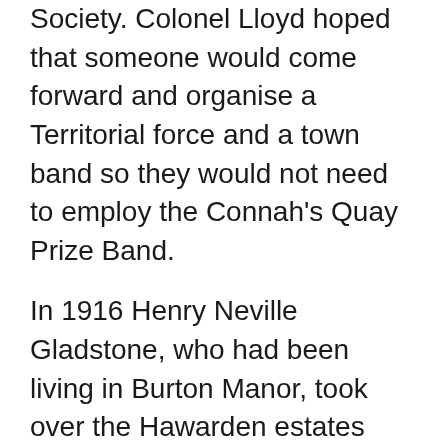Society. Colonel Lloyd hoped that someone would come forward and organise a Territorial force and a town band so they would not need to employ the Connah's Quay Prize Band.
In 1916 Henry Neville Gladstone, who had been living in Burton Manor, took over the Hawarden estates after the death at the Front of his nephew W G C Gladstone; he followed the tradition of his father, one-time Prime Minister W E Gladstone, who had been made a member in a tent in the rectory grounds at Hawarden in 1878, and